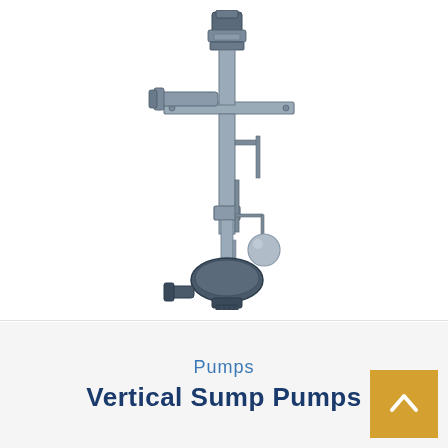[Figure (photo): Vertical sump pump assembly with motor at top, mounting plate, long vertical shaft column, float ball mechanism on side, and pump volute/impeller housing at bottom with inlet and outlet flanges. Unit is metallic grey/silver finish.]
Pumps
Vertical Sump Pumps